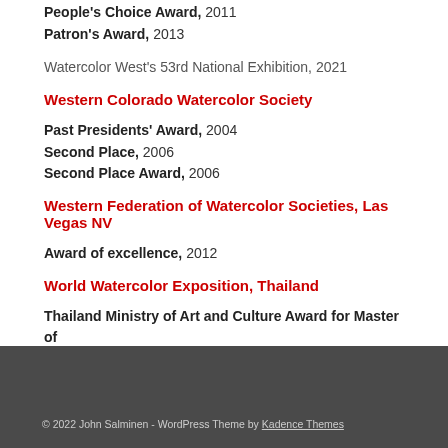People's Choice Award, 2011
Patron's Award, 2013
Watercolor West's 53rd National Exhibition, 2021
Western Colorado Watercolor Society
Past Presidents' Award, 2004
Second Place, 2006
Second Place Award, 2006
Western Federation of Watercolor Societies, Las Vegas NV
Award of excellence, 2012
World Watercolor Exposition, Thailand
Thailand Ministry of Art and Culture Award for Master of Urban Scenery, 2014
© 2022 John Salminen - WordPress Theme by Kadence Themes